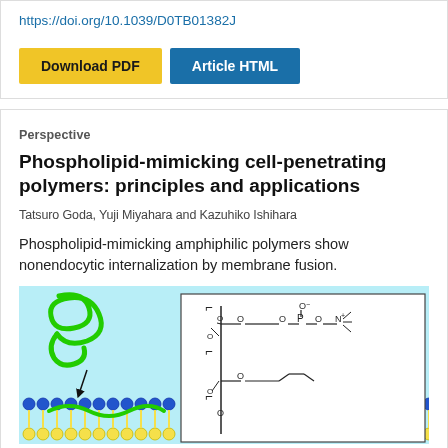https://doi.org/10.1039/D0TB01382J
[Figure (screenshot): Two buttons: 'Download PDF' (yellow background) and 'Article HTML' (blue background)]
Perspective
Phospholipid-mimicking cell-penetrating polymers: principles and applications
Tatsuro Goda, Yuji Miyahara and Kazuhiko Ishihara
Phospholipid-mimicking amphiphilic polymers show nonendocytic internalization by membrane fusion.
[Figure (illustration): Scientific illustration showing a polymer (green coiled structure) interacting with a lipid bilayer membrane (blue/yellow beads), alongside a chemical structure diagram of a phospholipid-mimicking polymer with MPC unit and butyl methacrylate unit on a light blue background.]